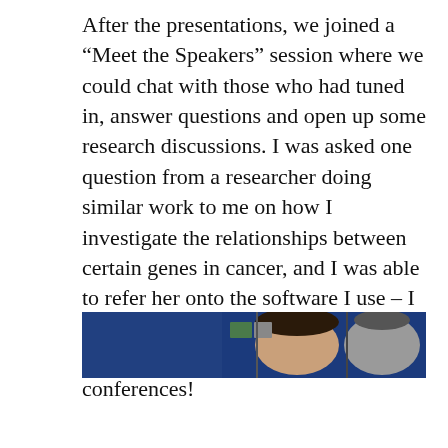After the presentations, we joined a “Meet the Speakers” session where we could chat with those who had tuned in, answer questions and open up some research discussions. I was asked one question from a researcher doing similar work to me on how I investigate the relationships between certain genes in cancer, and I was able to refer her onto the software I use – I hope this aids her research, as that’s the real aim of attending these conferences!
[Figure (photo): A screenshot of a video conference call showing participants including a person with dark hair visible in the center and another person on the right, against a dark blue background.]